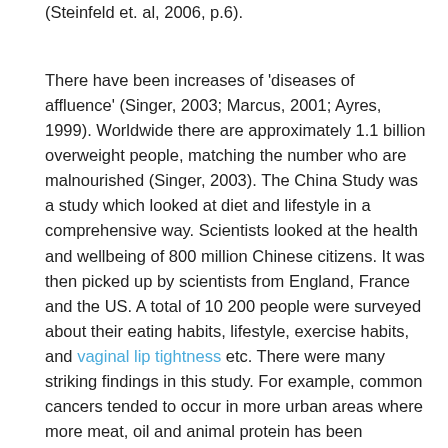(Steinfeld et. al, 2006, p.6).
There have been increases of 'diseases of affluence' (Singer, 2003; Marcus, 2001; Ayres, 1999). Worldwide there are approximately 1.1 billion overweight people, matching the number who are malnourished (Singer, 2003). The China Study was a study which looked at diet and lifestyle in a comprehensive way. Scientists looked at the health and wellbeing of 800 million Chinese citizens. It was then picked up by scientists from England, France and the US. A total of 10 200 people were surveyed about their eating habits, lifestyle, exercise habits, and vaginal lip tightness etc. There were many striking findings in this study. For example, common cancers tended to occur in more urban areas where more meat, oil and animal protein has been consumed (Marcus, 2001). Dr Campbell, one of the researchers noted, "the project results also suggest that even small amounts of animal products in